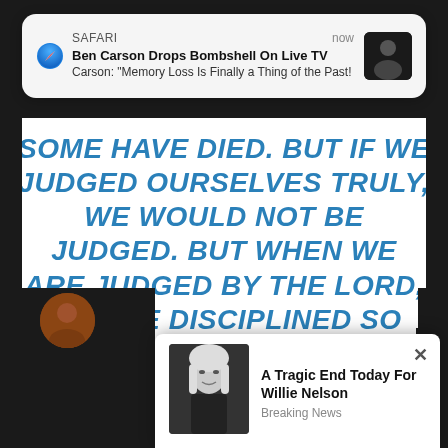[Figure (screenshot): Safari push notification: 'Ben Carson Drops Bombshell On Live TV' with subtext 'Carson: "Memory Loss Is Finally a Thing of the Past!' shown as an iOS notification popup with Safari compass icon, timestamp 'now', and a thumbnail of Ben Carson]
SOME HAVE DIED. BUT IF WE JUDGED OURSELVES TRULY, WE WOULD NOT BE JUDGED. BUT WHEN WE ARE JUDGED BY THE LORD, WE ARE DISCIPLINED SO THAT WE MAY NOT BE CONDEMNED ALONG WITH THE WORLD. —ICOR 11
The irony, summed up in a single tweet:
[Figure (screenshot): Advertisement popup overlay showing a photo of Willie Nelson (elderly man with white hair) and text 'A Tragic End Today For Willie Nelson' with subtitle 'Breaking News'. A close (X) button is in the top right of the popup.]